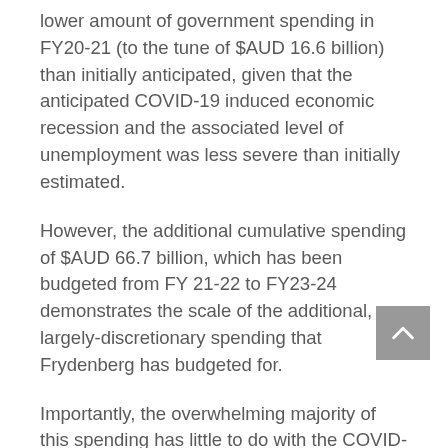lower amount of government spending in FY20-21 (to the tune of $AUD 16.6 billion) than initially anticipated, given that the anticipated COVID-19 induced economic recession and the associated level of unemployment was less severe than initially estimated.
However, the additional cumulative spending of $AUD 66.7 billion, which has been budgeted from FY 21-22 to FY23-24 demonstrates the scale of the additional, largely-discretionary spending that Frydenberg has budgeted for.
Importantly, the overwhelming majority of this spending has little to do with the COVID-19 pandemic directly, with the